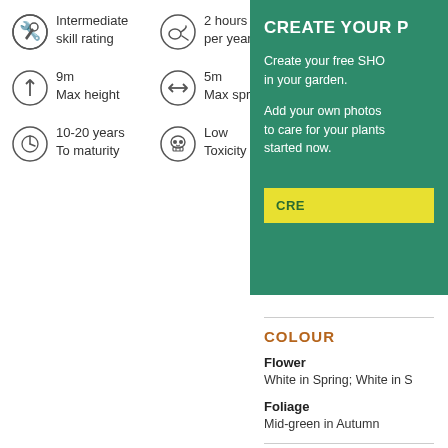Intermediate skill rating
2 hours care per year
9m Max height
5m Max spread
10-20 years To maturity
Low Toxicity
CREATE YOUR P
Create your free SHO in your garden.
Add your own photos to care for your plants started now.
CRE
COLOUR
Flower
White in Spring; White in S
Foliage
Mid-green in Autumn
HOW TO CARE